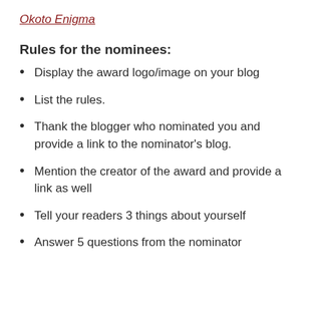Okoto Enigma
Rules for the nominees:
Display the award logo/image on your blog
List the rules.
Thank the blogger who nominated you and provide a link to the nominator's blog.
Mention the creator of the award and provide a link as well
Tell your readers 3 things about yourself
Answer 5 questions from the nominator